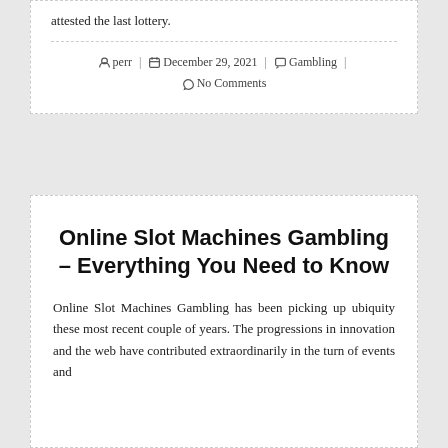attested the last lottery.
perr | December 29, 2021 | Gambling | No Comments
Online Slot Machines Gambling – Everything You Need to Know
Online Slot Machines Gambling has been picking up ubiquity these most recent couple of years. The progressions in innovation and the web have contributed extraordinarily in the turn of events and